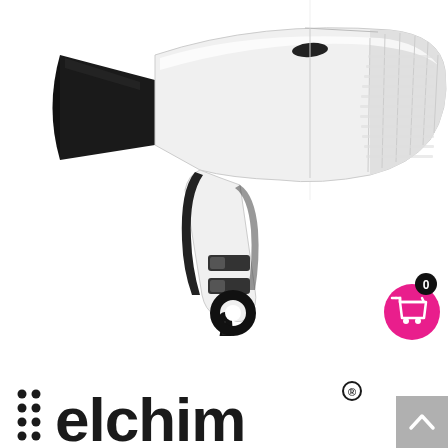[Figure (photo): White hair dryer with black nozzle attachment and black power cord with hanging loop, photographed on white background. The dryer has black control switches on the handle.]
[Figure (logo): Elchim brand logo in black lowercase letters with decorative dot pattern before the text and a registered trademark symbol. The brand name reads 'elchim' in a rounded font.]
[Figure (other): Pink circular shopping cart button with a black circle badge showing the number 0 at the top right. The cart icon is white inside the pink circle.]
[Figure (other): Gray scroll-to-top button with an upward-pointing chevron/arrow icon in the bottom right corner of the page.]